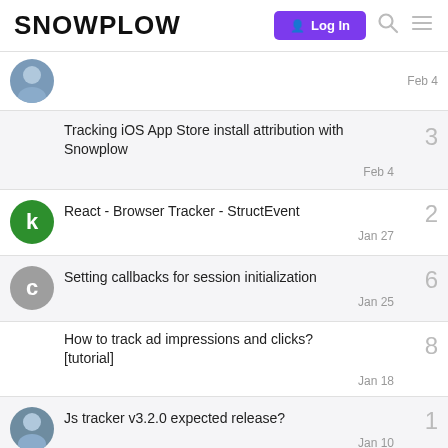SNOWPLOW | Log In
Tracking iOS App Store install attribution with Snowplow — 3 replies, Feb 4
React - Browser Tracker - StructEvent — 2 replies, Jan 27
Setting callbacks for session initialization — 6 replies, Jan 25
How to track ad impressions and clicks? [tutorial] — 8 replies, Jan 18
Js tracker v3.2.0 expected release? — 1 reply, Jan 10
AMP tracker setup — 3